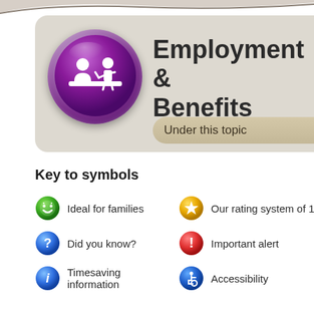[Figure (illustration): Purple circular icon with two white figures at a desk/counter representing employment services]
Employment & Benefits
Under this topic
Key to symbols
Ideal for families
Our rating system of 1
Did you know?
Important alert
Timesaving information
Accessibility